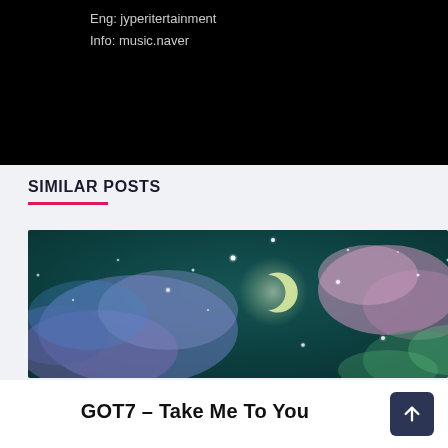Eng: jyperitertainment
Info: music.naver
SIMILAR POSTS
[Figure (photo): Night sky with crescent moon, colorful nebula-like clouds in purple, teal, blue, and green with sparkling stars]
GOT7 – Take Me To You